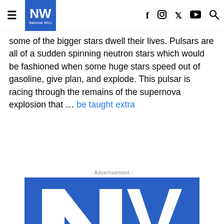NW National Wizz [hamburger menu, social icons: f, instagram, twitter, youtube, search]
some of the bigger stars dwell their lives. Pulsars are all of a sudden spinning neutron stars which would be fashioned when some huge stars speed out of gasoline, give plan, and explode. This pulsar is racing through the remains of the supernova explosion that … be taught extra
Source
- Advertisement -
[Figure (logo): Large NW (National Wizz) logo — white letters NV on blue background, large display size advertisement banner]